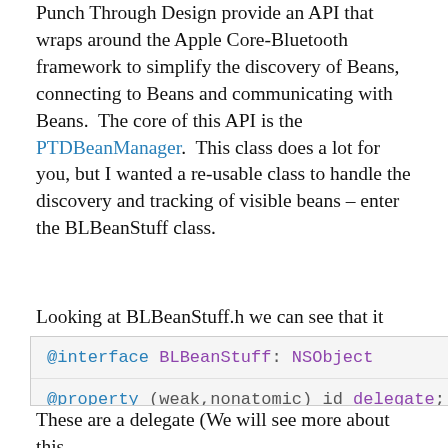Punch Through Design provide an API that wraps around the Apple Core-Bluetooth framework to simplify the discovery of Beans, connecting to Beans and communicating with Beans.  The core of this API is the PTDBeanManager.  This class does a lot for you, but I wanted a re-usable class to handle the discovery and tracking of visible beans – enter the BLBeanStuff class.
Looking at BLBeanStuff.h we can see that it defines the following properties –
@interface BLBeanStuff: NSObject
@property (weak,nonatomic) id delegate;
@property (nonatomic,readonly) NSArray *connected
@property (nonatomic,readonly) NSArray *discovere
These are a delegate (We will see more about this